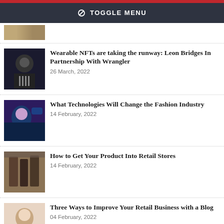⊘ TOGGLE MENU
[Figure (photo): Partial thumbnail of previous article item]
Wearable NFTs are taking the runway: Leon Bridges In Partnership With Wrangler
26 March, 2022
What Technologies Will Change the Fashion Industry
14 February, 2022
How to Get Your Product Into Retail Stores
14 February, 2022
Three Ways to Improve Your Retail Business with a Blog
04 February, 2022